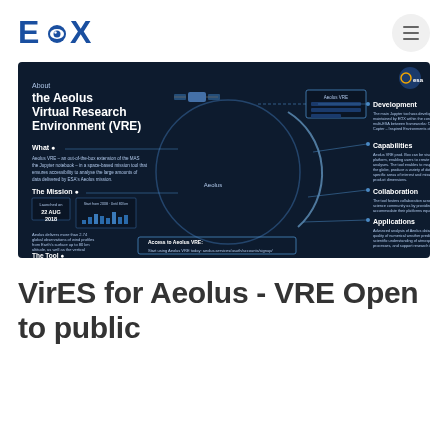EOX
[Figure (infographic): Infographic titled 'About the Aeolus Virtual Research Environment (VRE)' on a dark navy blue background. Shows sections: What, The Mission, The Tool, Aeolus VRE, Development, Capabilities, Collaboration, Applications, and Access to Aeolus VRE. Contains satellite imagery, circular orbit diagram, charts and UI screenshots. ESA logo in top right. Access URL: aeolus.services/oauth/accounts/signup/]
VirES for Aeolus - VRE Open to public